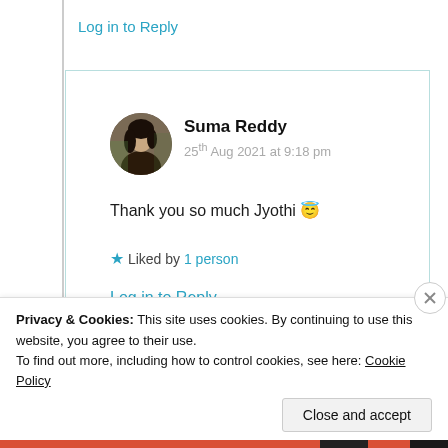Log in to Reply
[Figure (photo): Circular avatar photo of Suma Reddy, a woman with dark hair]
Suma Reddy
25th Aug 2021 at 9:18 pm
Thank you so much Jyothi 😇
★ Liked by 1 person
Log in to Reply
Privacy & Cookies: This site uses cookies. By continuing to use this website, you agree to their use.
To find out more, including how to control cookies, see here: Cookie Policy
Close and accept